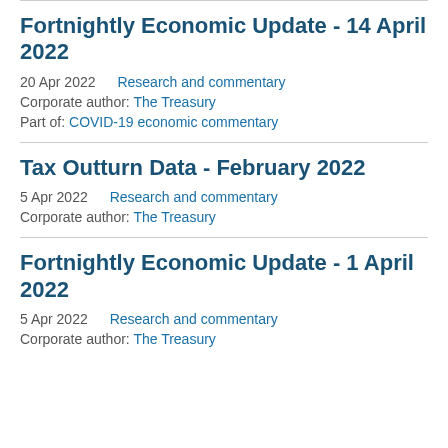Fortnightly Economic Update - 14 April 2022
20 Apr 2022    Research and commentary
Corporate author: The Treasury
Part of: COVID-19 economic commentary
Tax Outturn Data - February 2022
5 Apr 2022    Research and commentary
Corporate author: The Treasury
Fortnightly Economic Update - 1 April 2022
5 Apr 2022    Research and commentary
Corporate author: The Treasury